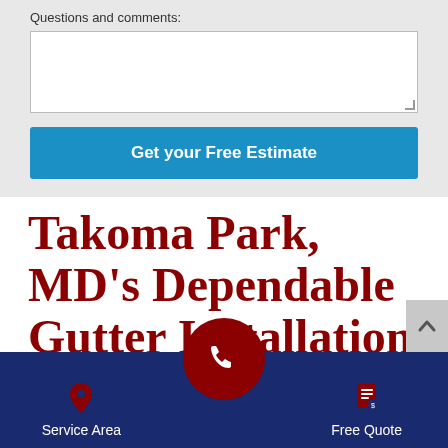Questions and comments:
Get your Free Estimate
Takoma Park, MD's Dependable Gutter Installation Company
Proven gutter protection company
Service Area
Free Quote